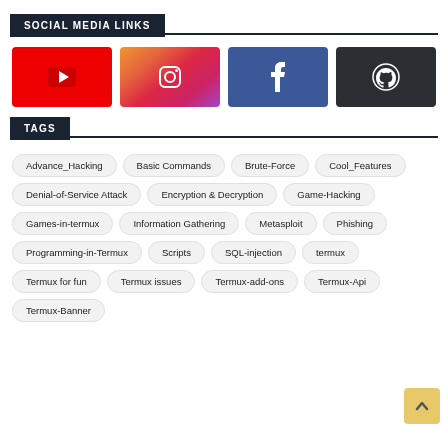SOCIAL MEDIA LINKS
[Figure (illustration): Social media icon buttons: YouTube (red), Instagram (gradient), Facebook (blue), GitHub (dark)]
TAGS
Advance_Hacking
Basic Commands
Brute-Force
Cool_Features
Denial-of-Service Attack
Encryption & Decryption
Game-Hacking
Games-in-termux
Information Gathering
Metasploit
Phishing
Programming-in-Termux
Scripts
SQL-injection
termux
Termux for fun
Termux issues
Termux-add-ons
Termux-Api
Termux-Banner